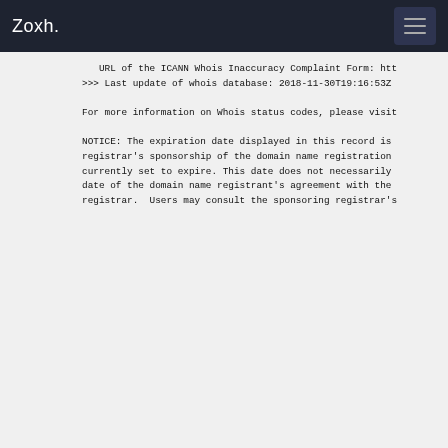Zoxh.
URL of the ICANN Whois Inaccuracy Complaint Form: htt
>>> Last update of whois database: 2018-11-30T19:16:53Z

For more information on Whois status codes, please visit

NOTICE: The expiration date displayed in this record is
registrar's sponsorship of the domain name registration
currently set to expire. This date does not necessarily
date of the domain name registrant's agreement with the
registrar.  Users may consult the sponsoring registrar's